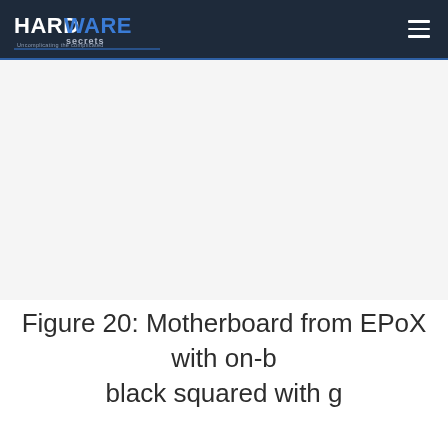Hardware Secrets — Uncomplicating the complicated
[Figure (other): Advertisement banner area (blank/white space)]
Figure 20: Motherboard from EPoX with on-b black squared with g